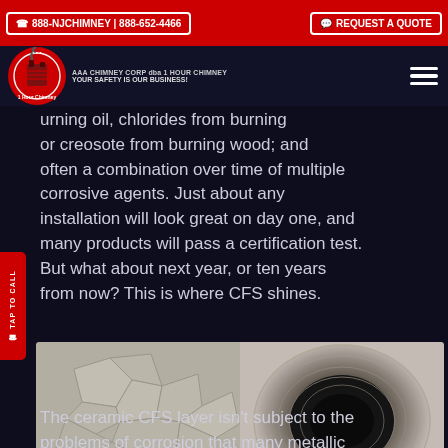☎ 888-NJCHIMNEY | 888-652-4466 | REQUEST A QUOTE
[Figure (logo): 1 Hour Chimney logo — red circle with chimney graphic and '1 Hour Chimney' text, with brand text 'AAA CHIMNEY CORP dba 1 HOUR CHIMNEY — YOUR SAFETY IS OUR BUSINESS!' and hamburger menu icon]
burning oil, chlorides from burning or creosote from burning wood; and often a combination over time of multiple corrosive agents. Just about any installation will look great on day one, and many products will pass a certification test. But what about next year, or ten years from now? This is where CFS shines.
[Figure (photo): Side-by-side comparison of chimney liner surfaces: left shows a cracked/deteriorated metallic liner surface with honeycomb-like cracking pattern; right shows a smooth round ceramic CFS liner interior viewed from below]
The ceramic CFS layer isn't subject to the problems of corrosion that many metallic lining systems face, because it is not